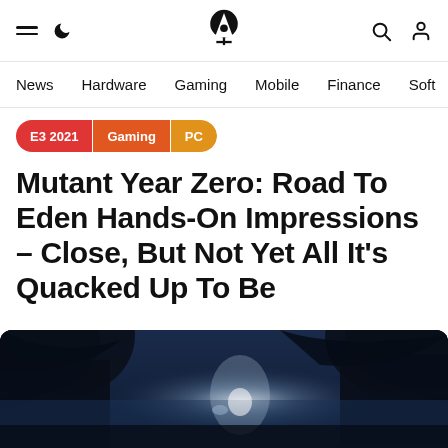≡ ☾ [Logo] 🔍 👤
News  Hardware  Gaming  Mobile  Finance  Soft
E3 2021 | Gaming | PC
Mutant Year Zero: Road To Eden Hands-On Impressions – Close, But Not Yet All It's Quacked Up To Be
Kai Powell · 4y   [comment icon] 4
[Figure (screenshot): Dark atmospheric forest scene from Mutant Year Zero: Road To Eden game, showing a misty blue-tinted environment with trees and a beam of light in the distance]